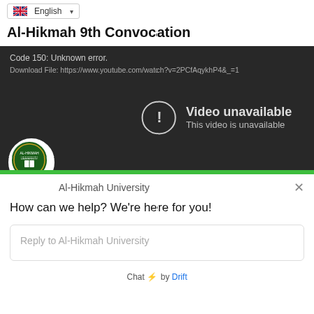English
Al-Hikmah 9th Convocation
[Figure (screenshot): Embedded YouTube video player showing error: Code 150: Unknown error. Download File: https://www.youtube.com/watch?v=2PCfAqykhP4&_=1. Center shows Video unavailable / This video is unavailable message with warning icon circle.]
Al-Hikmah University
How can we help? We're here for you!
Reply to Al-Hikmah University
Chat ⚡ by Drift